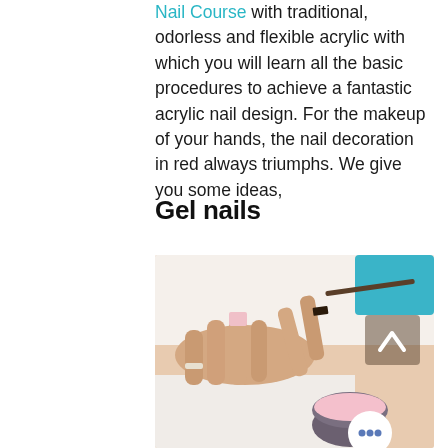Nail Course with traditional, odorless and flexible acrylic with which you will learn all the basic procedures to achieve a fantastic acrylic nail design. For the makeup of your hands, the nail decoration in red always triumphs. We give you some ideas,
Gel nails
[Figure (photo): A nail technician applying gel or acrylic product to a client's fingernail using a brush. A small open jar of pink gel is visible in the lower right. A white scroll-to-top button with an upward chevron appears in the upper right of the photo, and a white circular button with three dots appears at the bottom right.]